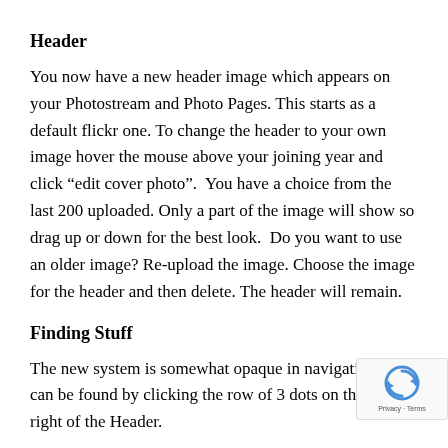Header
You now have a new header image which appears on your Photostream and Photo Pages. This starts as a default flickr one. To change the header to your own image hover the mouse above your joining year and click “edit cover photo”.  You have a choice from the last 200 uploaded. Only a part of the image will show so drag up or down for the best look.  Do you want to use an older image? Re-upload the image. Choose the image for the header and then delete. The header will remain.
Finding Stuff
The new system is somewhat opaque in navigation. A lot can be found by clicking the row of 3 dots on the bottom right of the Header.
In the Photostream clicking the dots will bring up the foll–
Map, Galleries, Collections. Achives, Tags, Photos of. Profile,